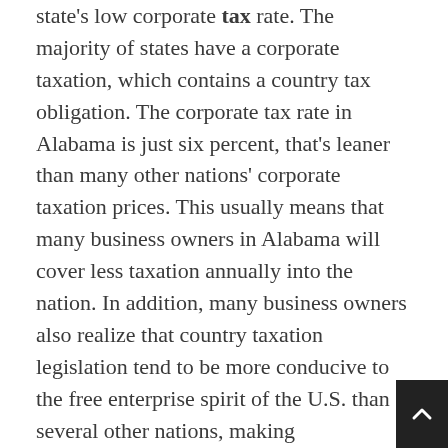state's low corporate tax rate. The majority of states have a corporate taxation, which contains a country tax obligation. The corporate tax rate in Alabama is just six percent, that's leaner than many other nations' corporate taxation prices. This usually means that many business owners in Alabama will cover less taxation annually into the nation. In addition, many business owners also realize that country taxation legislation tend to be more conducive to the free enterprise spirit of the U.S. than several other nations, making incorporation in Alabama a fantastic option for business owners who want to do business on view state without even paying state taxes.
On the flip side, if you do not include your LLC on your own articles of incorporation, you don't need to supply your LLC members with the LLC's